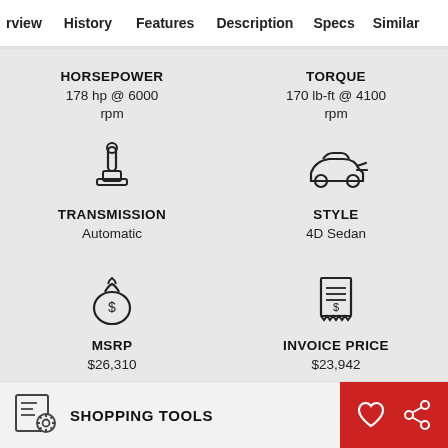rview | History | Features | Description | Specs | Similar
HORSEPOWER
178 hp @ 6000 rpm
TORQUE
170 lb-ft @ 4100 rpm
[Figure (illustration): Gear shift / transmission icon]
[Figure (illustration): Car sedan side silhouette icon]
TRANSMISSION
Automatic
STYLE
4D Sedan
[Figure (illustration): Money bag with dollar sign icon]
[Figure (illustration): Invoice/receipt with dollar sign icon]
MSRP
$26,310
INVOICE PRICE
$23,942
SHOPPING TOOLS